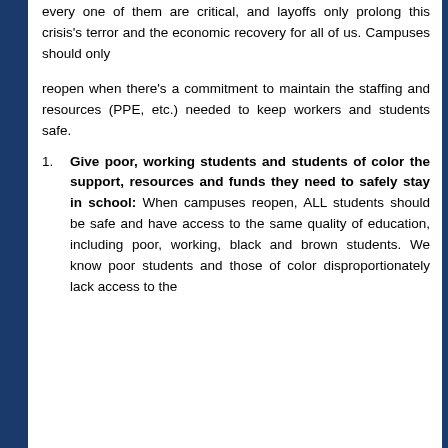every one of them are critical, and layoffs only prolong this crisis’s terror and the economic recovery for all of us. Campuses should only
reopen when there’s a commitment to maintain the staffing and resources (PPE, etc.) needed to keep workers and students safe.
Give poor, working students and students of color the support, resources and funds they need to safely stay in school: When campuses reopen, ALL students should be safe and have access to the same quality of education, including poor, working, black and brown students. We know poor students and those of color disproportionately lack access to the